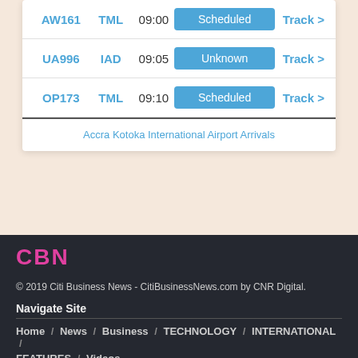| Flight | Dest | Time | Status | Action |
| --- | --- | --- | --- | --- |
| AW161 | TML | 09:00 | Scheduled | Track > |
| UA996 | IAD | 09:05 | Unknown | Track > |
| OP173 | TML | 09:10 | Scheduled | Track > |
Accra Kotoka International Airport Arrivals
ADVERTISEMENT
[Figure (logo): CBN logo in pink/magenta bold text]
© 2019 Citi Business News - CitiBusinessNews.com by CNR Digital.
Navigate Site
Home / News / Business / TECHNOLOGY / INTERNATIONAL /
FEATURES / Videos